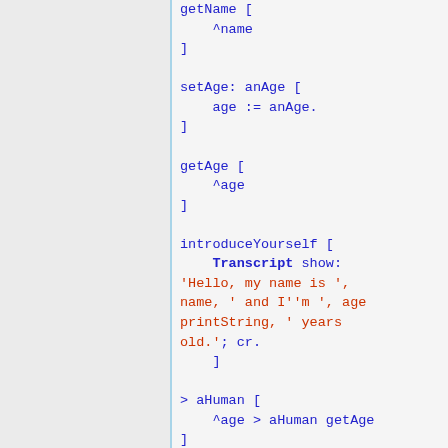getName [
    ^name
]

setAge: anAge [
    age := anAge.
]

getAge [
    ^age
]

introduceYourself [
    Transcript show:
'Hello, my name is ',
name, ' and I''m ', age
printString, ' years
old.'; cr.
    ]

> aHuman [
    ^age > aHuman getAge
]

< aHuman [